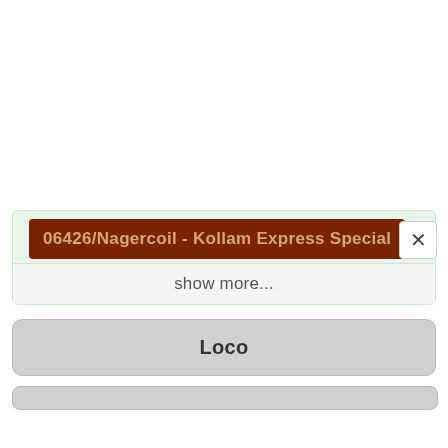06426/Nagercoil - Kollam Express Special
show more...
×
Loco